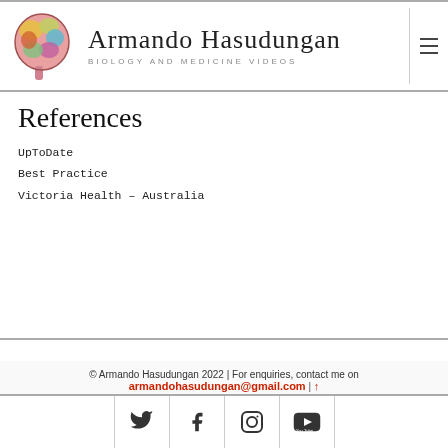Armando Hasudungan | BIOLOGY AND MEDICINE VIDEOS
References
UpToDate
Best Practice
Victoria Health – Australia
© Armando Hasudungan 2022 | For enquiries, contact me on armandohasudungan@gmail.com | ↑